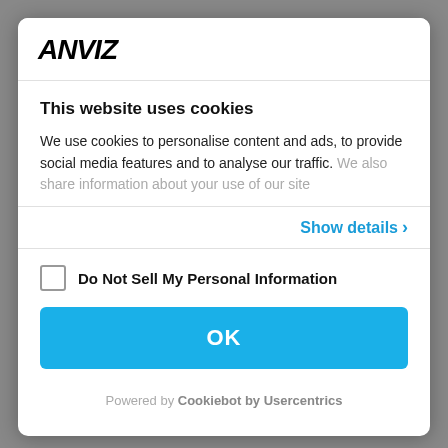[Figure (logo): ANVIZ logo in bold italic black text]
This website uses cookies
We use cookies to personalise content and ads, to provide social media features and to analyse our traffic. We also share information about your use of our site
Show details ›
Do Not Sell My Personal Information
OK
Powered by Cookiebot by Usercentrics